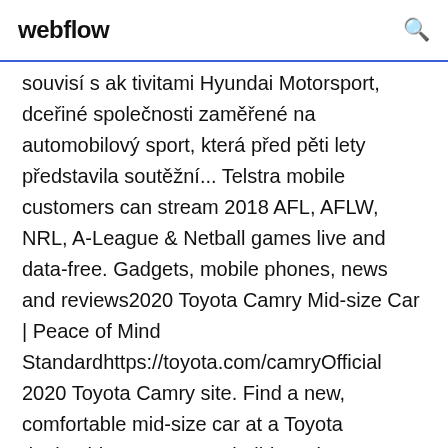webflow
souvisí s aktivitami Hyundai Motorsport, dceřiné společnosti zaměřené na automobilový sport, která před pěti lety představila soutěžní... Telstra mobile customers can stream 2018 AFL, AFLW, NRL, A-League & Netball games live and data-free. Gadgets, mobile phones, news and reviews2020 Toyota Camry Mid-size Car | Peace of Mind Standardhttps://toyota.com/camryOfficial 2020 Toyota Camry site. Find a new, comfortable mid-size car at a Toyota dealership near you, or build & price your own Camry online today. Find the Latest Local and International News including Sports, Analysis, Business, Weather and more from the Definitive Brand of Quality